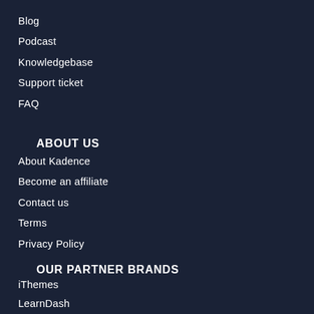Blog
Podcast
Knowledgebase
Support ticket
FAQ
ABOUT US
About Kadence
Become an affiliate
Contact us
Terms
Privacy Policy
OUR PARTNER BRANDS
iThemes
LearnDash